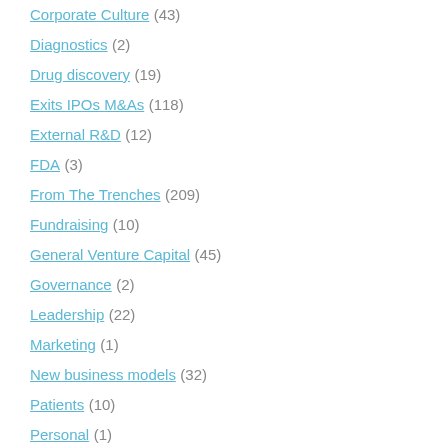Corporate Culture (43)
Diagnostics (2)
Drug discovery (19)
Exits IPOs M&As (118)
External R&D (12)
FDA (3)
From The Trenches (209)
Fundraising (10)
General Venture Capital (45)
Governance (2)
Leadership (22)
Marketing (1)
New business models (32)
Patients (10)
Personal (1)